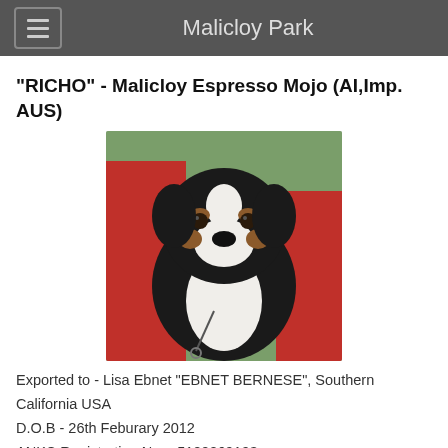Malicloy Park
"RICHO" - Malicloy Espresso Mojo (AI,Imp. AUS)
[Figure (photo): Photo of a Bernese Mountain Dog puppy being held, showing black, white, and brown coloring, with a green grassy background and a person in red clothing.]
Exported to - Lisa Ebnet "EBNET BERNESE", Southern California USA
D.O.B - 26th Feburary 2012
ANKC Registration No. - 5100069193
Microchip No. - 982000163738313
AVA Hip Score -  Too young
PennHIP -  Too young